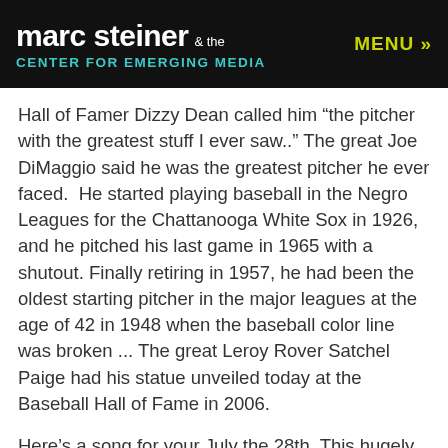marc steiner & the CENTER FOR EMERGING MEDIA   MENU »
Hall of Famer Dizzy Dean called him “the pitcher with the greatest stuff I ever saw..” The great Joe DiMaggio said he was the greatest pitcher he ever faced.  He started playing baseball in the Negro Leagues for the Chattanooga White Sox in 1926, and he pitched his last game in 1965 with a shutout. Finally retiring in 1957, he had been the oldest starting pitcher in the major leagues at the age of 42 in 1948 when the baseball color line was broken ... The great Leroy Rover Satchel Paige had his statue unveiled today at the Baseball Hall of Fame in 2006.
Here’s a song for your July the 28th. This hugely popular song that would become a classic was recorded today in 1961. Despite it’s popularity, the originator of this song did not get rich off of the enormous profits of the song. In 1938 in South Africa, Solomon Linda and the Evening Birds recorded a song